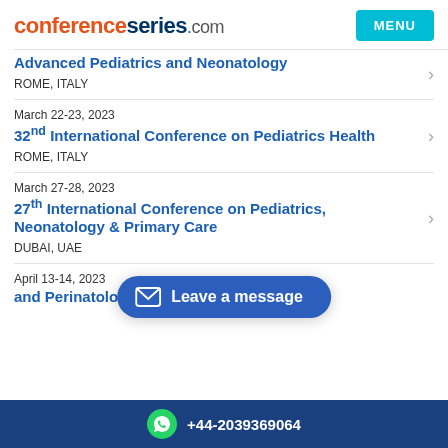conferenceseries.com
Advanced Pediatrics and Neonatology
ROME, ITALY
March 22-23, 2023
32nd International Conference on Pediatrics Health
ROME, ITALY
March 27-28, 2023
27th International Conference on Pediatrics, Neonatology & Primary Care
DUBAI, UAE
April 13-14, 2023
and Perinatology
+44-2039369064